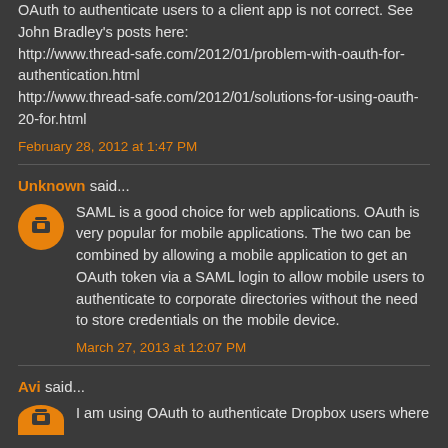OAuth to authenticate users to a client app is not correct. See John Bradley's posts here: http://www.thread-safe.com/2012/01/problem-with-oauth-for-authentication.html http://www.thread-safe.com/2012/01/solutions-for-using-oauth-20-for.html
February 28, 2012 at 1:47 PM
Unknown said...
SAML is a good choice for web applications. OAuth is very popular for mobile applications. The two can be combined by allowing a mobile application to get an OAuth token via a SAML login to allow mobile users to authenticate to corporate directories without the need to store credentials on the mobile device.
March 27, 2013 at 12:07 PM
Avi said...
I am using OAuth to authenticate Dropbox users where